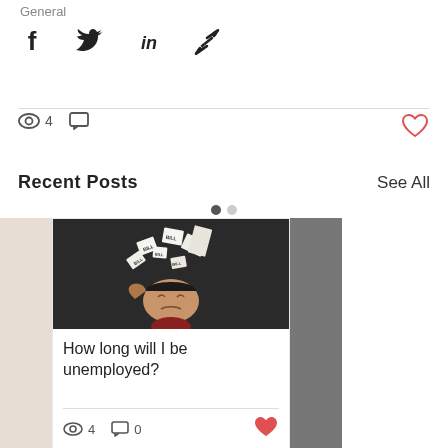General
[Figure (infographic): Social share icons row: Facebook, Twitter, LinkedIn, Link]
4 views, 0 comments, heart/like button
Recent Posts
See All
[Figure (photo): Blog post card image: stressed man with bills flying out of open head, dark background]
How long will I be unemployed?
4 views, 0 comments, heart/like button